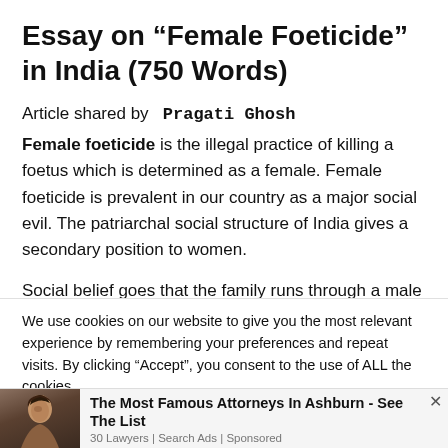Essay on “Female Foeticide” in India (750 Words)
Article shared by  Pragati Ghosh
Female foeticide is the illegal practice of killing a foetus which is determined as a female. Female foeticide is prevalent in our country as a major social evil. The patriarchal social structure of India gives a secondary position to women.
Social belief goes that the family runs through a male and hence the birth of a male child in the family is imminent to the carrying
We use cookies on our website to give you the most relevant experience by remembering your preferences and repeat visits. By clicking “Accept”, you consent to the use of ALL the cookies.
Do not sell my personal information.
[Figure (photo): Photo of a woman with dark hair, partial face visible, against a dark brownish background]
The Most Famous Attorneys In Ashburn - See The List
30 Lawyers | Search Ads | Sponsored